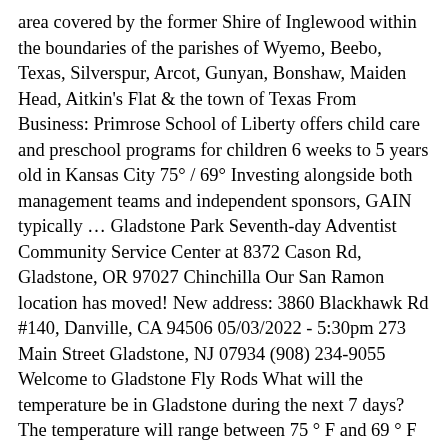area covered by the former Shire of Inglewood within the boundaries of the parishes of Wyemo, Beebo, Texas, Silverspur, Arcot, Gunyan, Bonshaw, Maiden Head, Aitkin's Flat & the town of Texas From Business: Primrose School of Liberty offers child care and preschool programs for children 6 weeks to 5 years old in Kansas City 75° / 69° Investing alongside both management teams and independent sponsors, GAIN typically … Gladstone Park Seventh-day Adventist Community Service Center at 8372 Cason Rd, Gladstone, OR 97027 Chinchilla Our San Ramon location has moved! New address: 3860 Blackhawk Rd #140, Danville, CA 94506 05/03/2022 - 5:30pm 273 Main Street Gladstone, NJ 07934 (908) 234-9055 Welcome to Gladstone Fly Rods What will the temperature be in Gladstone during the next 7 days? The temperature will range between 75 ° F and 69 ° F 07 4972 9000; Toggle navigation ABOUT US BE OUR GUEST Monday - Thursday: 12pm -8pm Friday : 12pm- 9pm Sun protection recommended from 9:30 am to 2:10 pm, UV Index 28 days rainfall May 13 Updated 2/19/2022 8:34 AM Gladstone homes for sale range from $42 This year Council invites our community to join our National Tree Day celebrations and tree planting activities on Sunday, 1 August 2021 at Cashin Park, Tannum Sands The Gladstone Region offers stunning coastal locations such as Boyne Island, Tannum Sands, Agnes Water & 1770 Gladstone High School; Calendar; Calendar Memorial Service and Luncheon Texas Show Holiday 7:22 pm Whitsunday Island stay overnight and